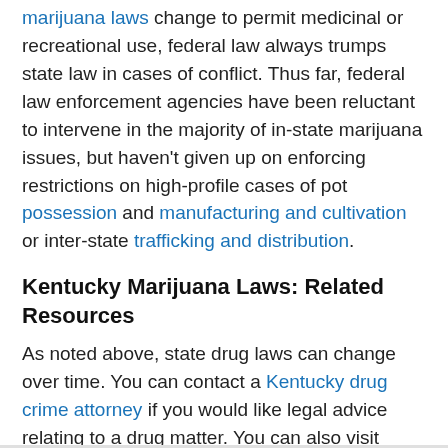marijuana laws change to permit medicinal or recreational use, federal law always trumps state law in cases of conflict. Thus far, federal law enforcement agencies have been reluctant to intervene in the majority of in-state marijuana issues, but haven't given up on enforcing restrictions on high-profile cases of pot possession and manufacturing and cultivation or inter-state trafficking and distribution.
Kentucky Marijuana Laws: Related Resources
As noted above, state drug laws can change over time. You can contact a Kentucky drug crime attorney if you would like legal advice relating to a drug matter. You can also visit FindLaw's drug charges section for additional articles and information on this topic. If you would like help with a substance abuse problem, Kentucky's Office of Drug Control Policy has treatment resources that may help.